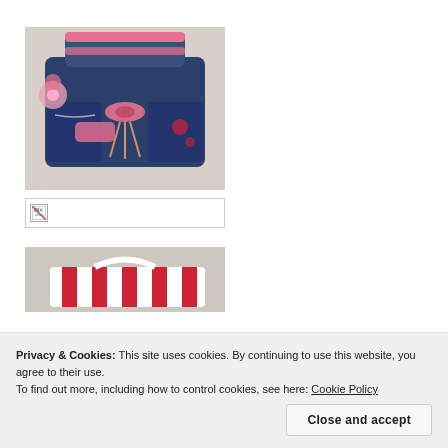[Figure (photo): A decorative denim handbag/purse with pink accents, bows, tassels, embellishments and a cross-body strap, photographed on a light background.]
[Figure (photo): Broken image placeholder — small broken image icon inside a rectangular bordered box.]
[Figure (photo): Partial photo showing red and white striped fabric/item on a light background.]
Privacy & Cookies: This site uses cookies. By continuing to use this website, you agree to their use. To find out more, including how to control cookies, see here: Cookie Policy
Close and accept